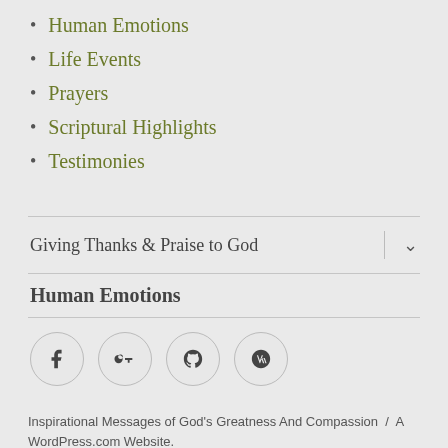Human Emotions
Life Events
Prayers
Scriptural Highlights
Testimonies
Giving Thanks & Praise to God
Human Emotions
Inspirational Messages of God's Greatness And Compassion / A WordPress.com Website.